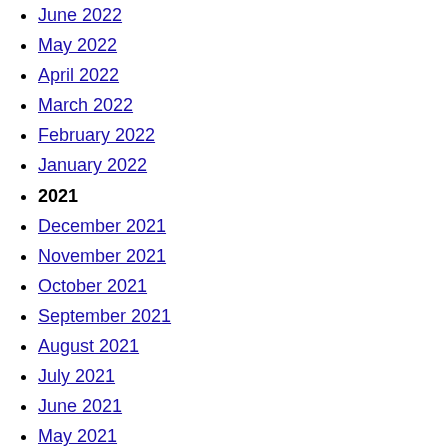June 2022
May 2022
April 2022
March 2022
February 2022
January 2022
2021
December 2021
November 2021
October 2021
September 2021
August 2021
July 2021
June 2021
May 2021
April 2021
March 2021
February 2021
January 2021
2020
December 2020
November 2020
October 2020
September 2020
August 2020